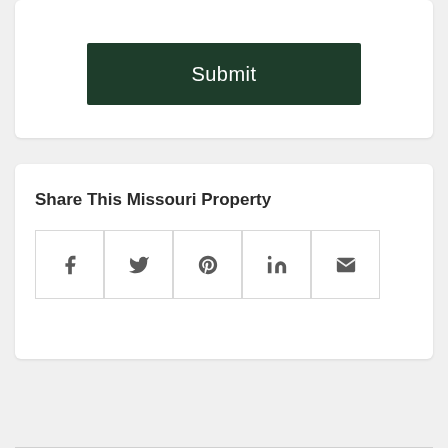Submit
Share This Missouri Property
[Figure (other): Social share icons row: Facebook, Twitter, Pinterest, LinkedIn, Email]